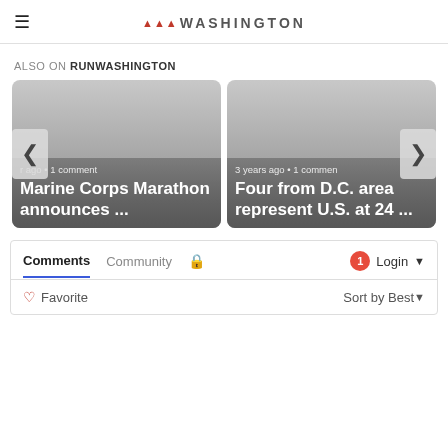≡ RunWashington
ALSO ON RUNWASHINGTON
[Figure (screenshot): Two article cards: 'Marine Corps Marathon announces ...' (r ago · 1 comment) and 'Four from D.C. area represent U.S. at 24 ...' (3 years ago · 1 comment), with left and right navigation arrows]
Comments  Community  🔒  1  Login ▼
♡ Favorite    Sort by Best ▼